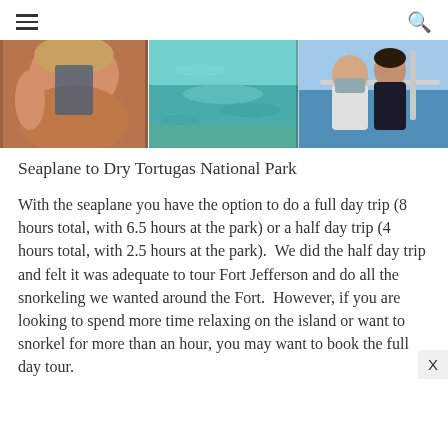≡  🔍
[Figure (photo): Three-panel photo strip: left panel shows a woman in a swimsuit, middle panel shows turquoise water/snorkeling scene, right panel shows two people on a boat with ocean in background.]
Seaplane to Dry Tortugas National Park
With the seaplane you have the option to do a full day trip (8 hours total, with 6.5 hours at the park) or a half day trip (4 hours total, with 2.5 hours at the park).  We did the half day trip and felt it was adequate to tour Fort Jefferson and do all the snorkeling we wanted around the Fort.  However, if you are looking to spend more time relaxing on the island or want to snorkel for more than an hour, you may want to book the full day tour.